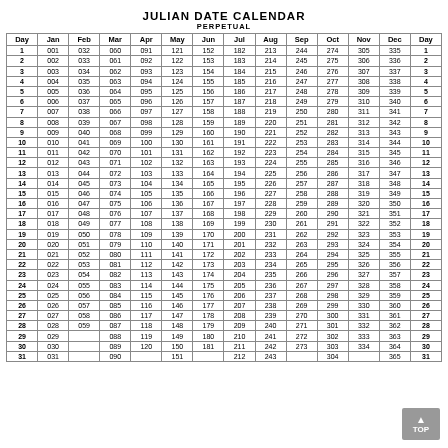JULIAN DATE CALENDAR
PERPETUAL
| Day | Jan | Feb | Mar | Apr | May | Jun | Jul | Aug | Sep | Oct | Nov | Dec | Day |
| --- | --- | --- | --- | --- | --- | --- | --- | --- | --- | --- | --- | --- | --- |
| 1 | 001 | 032 | 060 | 091 | 121 | 152 | 182 | 213 | 244 | 274 | 305 | 335 | 1 |
| 2 | 002 | 033 | 061 | 092 | 122 | 153 | 183 | 214 | 245 | 275 | 306 | 336 | 2 |
| 3 | 003 | 034 | 062 | 093 | 123 | 154 | 184 | 215 | 246 | 276 | 307 | 337 | 3 |
| 4 | 004 | 035 | 063 | 094 | 124 | 155 | 185 | 216 | 247 | 277 | 308 | 338 | 4 |
| 5 | 005 | 036 | 064 | 095 | 125 | 156 | 186 | 217 | 248 | 278 | 309 | 339 | 5 |
| 6 | 006 | 037 | 065 | 096 | 126 | 157 | 187 | 218 | 249 | 279 | 310 | 340 | 6 |
| 7 | 007 | 038 | 066 | 097 | 127 | 158 | 188 | 219 | 250 | 280 | 311 | 341 | 7 |
| 8 | 008 | 039 | 067 | 098 | 128 | 159 | 189 | 220 | 251 | 281 | 312 | 342 | 8 |
| 9 | 009 | 040 | 068 | 099 | 129 | 160 | 190 | 221 | 252 | 282 | 313 | 343 | 9 |
| 10 | 010 | 041 | 069 | 100 | 130 | 161 | 191 | 222 | 253 | 283 | 314 | 344 | 10 |
| 11 | 011 | 042 | 070 | 101 | 131 | 162 | 192 | 223 | 254 | 284 | 315 | 345 | 11 |
| 12 | 012 | 043 | 071 | 102 | 132 | 163 | 193 | 224 | 255 | 285 | 316 | 346 | 12 |
| 13 | 013 | 044 | 072 | 103 | 133 | 164 | 194 | 225 | 256 | 286 | 317 | 347 | 13 |
| 14 | 014 | 045 | 073 | 104 | 134 | 165 | 195 | 226 | 257 | 287 | 318 | 348 | 14 |
| 15 | 015 | 046 | 074 | 105 | 135 | 166 | 196 | 227 | 258 | 288 | 319 | 349 | 15 |
| 16 | 016 | 047 | 075 | 106 | 136 | 167 | 197 | 228 | 259 | 289 | 320 | 350 | 16 |
| 17 | 017 | 048 | 076 | 107 | 137 | 168 | 198 | 229 | 260 | 290 | 321 | 351 | 17 |
| 18 | 018 | 049 | 077 | 108 | 138 | 169 | 199 | 230 | 261 | 291 | 322 | 352 | 18 |
| 19 | 019 | 050 | 078 | 109 | 139 | 170 | 200 | 231 | 262 | 292 | 323 | 353 | 19 |
| 20 | 020 | 051 | 079 | 110 | 140 | 171 | 201 | 232 | 263 | 293 | 324 | 354 | 20 |
| 21 | 021 | 052 | 080 | 111 | 141 | 172 | 202 | 233 | 264 | 294 | 325 | 355 | 21 |
| 22 | 022 | 053 | 081 | 112 | 142 | 173 | 203 | 234 | 265 | 295 | 326 | 356 | 22 |
| 23 | 023 | 054 | 082 | 113 | 143 | 174 | 204 | 235 | 266 | 296 | 327 | 357 | 23 |
| 24 | 024 | 055 | 083 | 114 | 144 | 175 | 205 | 236 | 267 | 297 | 328 | 358 | 24 |
| 25 | 025 | 056 | 084 | 115 | 145 | 176 | 206 | 237 | 268 | 298 | 329 | 359 | 25 |
| 26 | 026 | 057 | 085 | 116 | 146 | 177 | 207 | 238 | 269 | 299 | 330 | 360 | 26 |
| 27 | 027 | 058 | 086 | 117 | 147 | 178 | 208 | 239 | 270 | 300 | 331 | 361 | 27 |
| 28 | 028 | 059 | 087 | 118 | 148 | 179 | 209 | 240 | 271 | 301 | 332 | 362 | 28 |
| 29 | 029 |  | 088 | 119 | 149 | 180 | 210 | 241 | 272 | 302 | 333 | 363 | 29 |
| 30 | 030 |  | 089 | 120 | 150 | 181 | 211 | 242 | 273 | 303 | 334 | 364 | 30 |
| 31 | 031 |  | 090 |  | 151 |  | 212 | 243 |  | 304 |  | 365 | 31 |